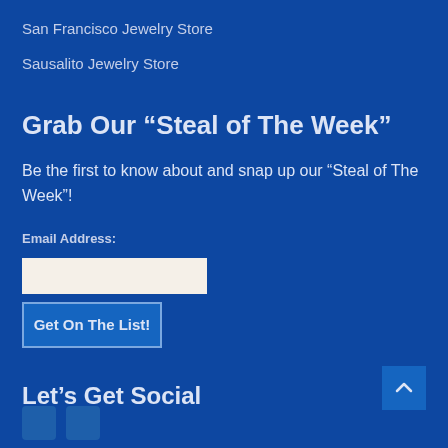San Francisco Jewelry Store
Sausalito Jewelry Store
Grab Our “Steal of The Week”
Be the first to know about and snap up our “Steal of The Week”!
Email Address:
[Figure (other): Email address input field (empty, cream/beige background)]
[Figure (other): Submit button labeled 'Get On The List!']
Let’s Get Social
[Figure (other): Social media icon buttons (Facebook and another platform)]
[Figure (other): Scroll to top button with upward chevron arrow]